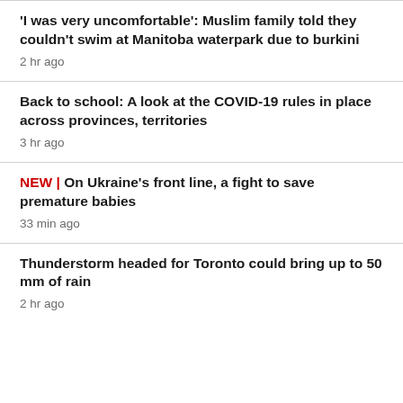'I was very uncomfortable': Muslim family told they couldn't swim at Manitoba waterpark due to burkini
2 hr ago
Back to school: A look at the COVID-19 rules in place across provinces, territories
3 hr ago
NEW | On Ukraine's front line, a fight to save premature babies
33 min ago
Thunderstorm headed for Toronto could bring up to 50 mm of rain
2 hr ago